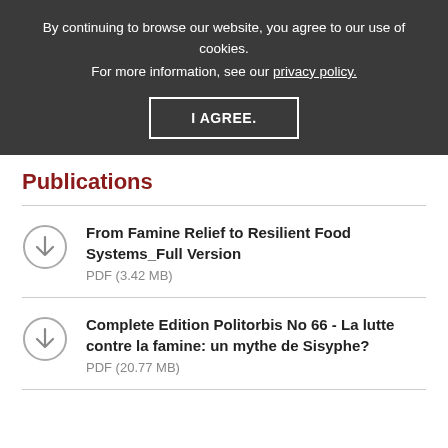By continuing to browse our website, you agree to our use of cookies. For more information, see our privacy policy.
I AGREE.
Publications
From Famine Relief to Resilient Food Systems_Full Version
PDF (3.42 MB)
Complete Edition Politorbis No 66 - La lutte contre la famine: un mythe de Sisyphe?
PDF (20.77 MB)